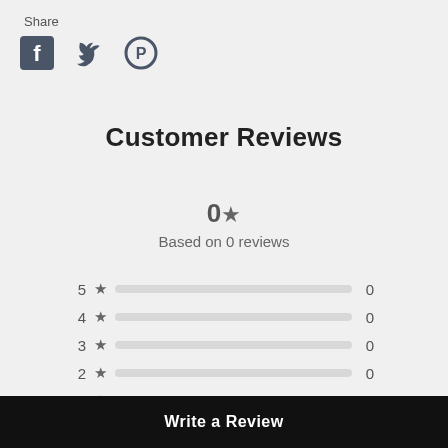Share
[Figure (illustration): Social media share icons: Facebook, Twitter, Pinterest]
Customer Reviews
0★ Based on 0 reviews
[Figure (bar-chart): Star rating distribution]
Write a Review